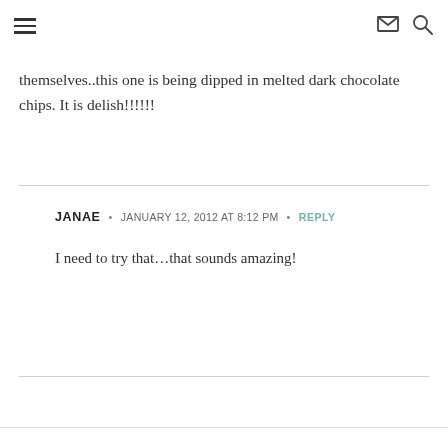[hamburger menu icon] [envelope icon] [search icon]
themselves..this one is being dipped in melted dark chocolate chips. It is delish!!!!!!
JANAE • JANUARY 12, 2012 AT 8:12 PM • REPLY
I need to try that…that sounds amazing!